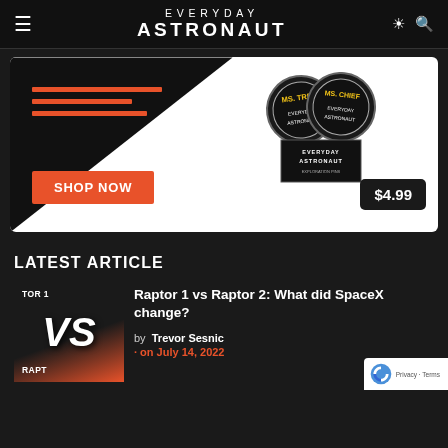EVERYDAY ASTRONAUT
[Figure (infographic): Everyday Astronaut shop advertisement banner showing MS. TREE and MS. CHIEF pins with 'SHOP NOW' button and $4.99 price tag]
LATEST ARTICLE
[Figure (illustration): Thumbnail image for article showing TOR 1 VS RAPTOR with orange and dark background]
Raptor 1 vs Raptor 2: What did SpaceX change?
by Trevor Sesnic
· on July 14, 2022